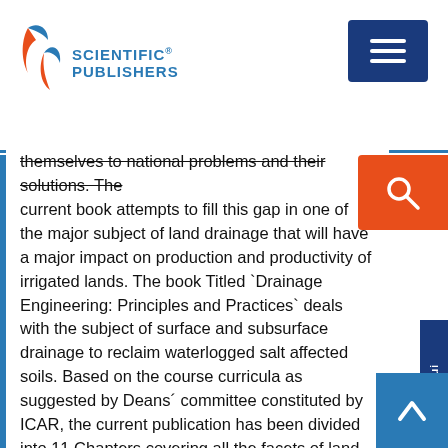[Figure (logo): Scientific Publishers logo with blue stylized 'S' icon and blue text reading SCIENTIFIC PUBLISHERS]
[Figure (other): Dark blue hamburger menu button in top right corner]
[Figure (other): Orange/red search button with magnifying glass icon on right side]
themselves to national problems and their solutions. The current book attempts to fill this gap in one of the major subject of land drainage that will have a major impact on production and productivity of irrigated lands. The book Titled `Drainage Engineering: Principles and Practices` deals with the subject of surface and subsurface drainage to reclaim waterlogged salt affected soils. Based on the course curricula as suggested by Deans´ committee constituted by ICAR, the current publication has been divided into 11 Chapters covering all the facets of land drainage as applied to agriculture. Each chapter covers one of the related issues beginning with general introduction to water logging, soil salinity and land drainage in Chapter 1.Surface drainage methods, an essential intervention in monsoon climatic regions and as supplement to the subsurface drainage are included in Chapter 2. Drainage investigations, a precursor to problem diagnosis and to assemble the drainage design
[Figure (other): Dark navy blue Export to Excel side tab on right edge]
[Figure (other): Blue back-to-top arrow button bottom right]